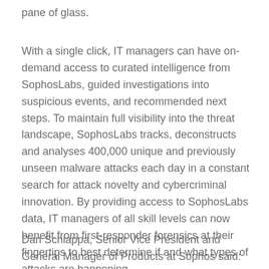pane of glass.
With a single click, IT managers can have on-demand access to curated intelligence from SophosLabs, guided investigations into suspicious events, and recommended next steps. To maintain full visibility into the threat landscape, SophosLabs tracks, deconstructs and analyses 400,000 unique and previously unseen malware attacks each day in a constant search for attack novelty and cybercriminal innovation. By providing access to SophosLabs data, IT managers of all skill levels can now benefit from first-responder forensics at their fingertips to best determine if and what types of attacks are happening.
Dan Schiappa, Senior Vice President and General Manager of Products at Sophos said: